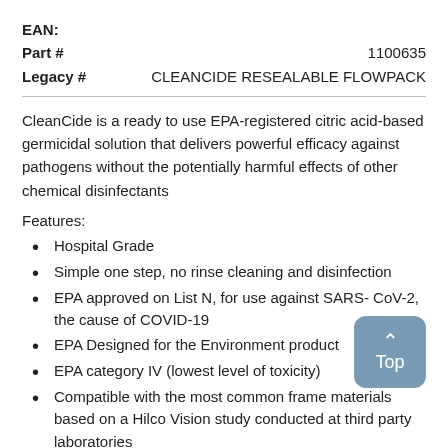EAN:
Part #   1100635
Legacy #   CLEANCIDE RESEALABLE FLOWPACK
CleanCide is a ready to use EPA-registered citric acid-based germicidal solution that delivers powerful efficacy against pathogens without the potentially harmful effects of other chemical disinfectants
Features:
Hospital Grade
Simple one step, no rinse cleaning and disinfection
EPA approved on List N, for use against SARS- CoV-2, the cause of COVID-19
EPA Designed for the Environment product
EPA category IV (lowest level of toxicity)
Compatible with the most common frame materials based on a Hilco Vision study conducted at third party laboratories